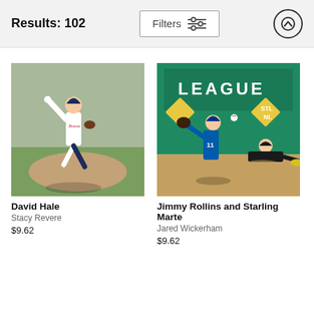Results: 102
[Figure (photo): Baseball pitcher David Hale in Atlanta Braves white uniform mid-windup on pitching mound]
David Hale
Stacy Revere
$9.62
[Figure (photo): Baseball action shot of Jimmy Rollins and Starling Marte at second base with green scoreboard reading LEAGUE in background]
Jimmy Rollins and Starling Marte
Jared Wickerham
$9.62